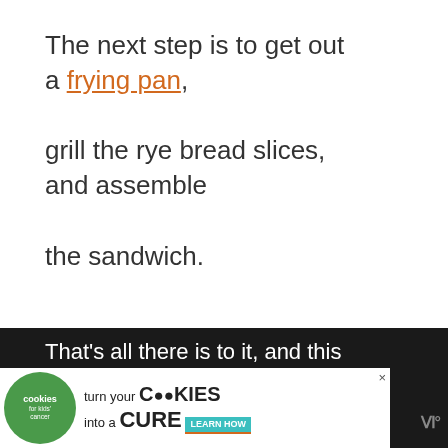The next step is to get out a frying pan, grill the rye bread slices, and assemble the sandwich.
[Figure (screenshot): UI sidebar with heart/like button (teal circle with heart icon), count '10', and share button]
[Figure (screenshot): What's Next card showing a food photo thumbnail with text 'WHAT'S NEXT → What to Serve with Cuban...']
That's all there is to it, and this sandwich
[Figure (screenshot): Advertisement banner: cookies for kids' cancer - turn your COOKIES into a CURE LEARN HOW]